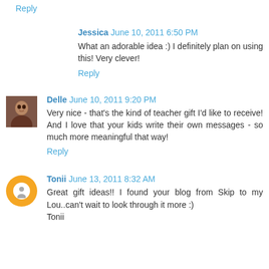Reply
Jessica  June 10, 2011 6:50 PM
What an adorable idea :) I definitely plan on using this! Very clever!
Reply
Delle  June 10, 2011 9:20 PM
Very nice - that's the kind of teacher gift I'd like to receive! And I love that your kids write their own messages - so much more meaningful that way!
Reply
Tonii  June 13, 2011 8:32 AM
Great gift ideas!! I found your blog from Skip to my Lou..can't wait to look through it more :)
Tonii